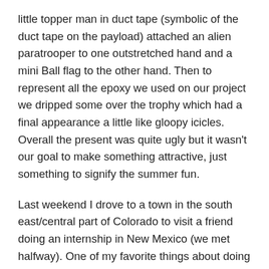little topper man in duct tape (symbolic of the duct tape on the payload) attached an alien paratrooper to one outstretched hand and a mini Ball flag to the other hand. Then to represent all the epoxy we used on our project we dripped some over the trophy which had a final appearance a little like gloopy icicles. Overall the present was quite ugly but it wasn't our goal to make something attractive, just something to signify the summer fun.
Last weekend I drove to a town in the south east/central part of Colorado to visit a friend doing an internship in New Mexico (we met halfway). One of my favorite things about doing an internship is getting to explore a different area then I'm used to. The town we went to was pretty small, and my GPS got us really lost while looking for some fun hiking, but eventually we ended up at a lake and some of the views were breathtaking. Colorado is definitely one of the most beautiful places I've ever been.